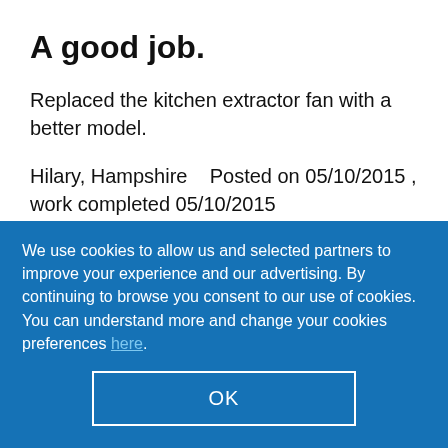A good job.
Replaced the kitchen extractor fan with a better model.
Hilary, Hampshire    Posted on 05/10/2015 , work completed 05/10/2015
We use cookies to allow us and selected partners to improve your experience and our advertising. By continuing to browse you consent to our use of cookies. You can understand more and change your cookies preferences here.